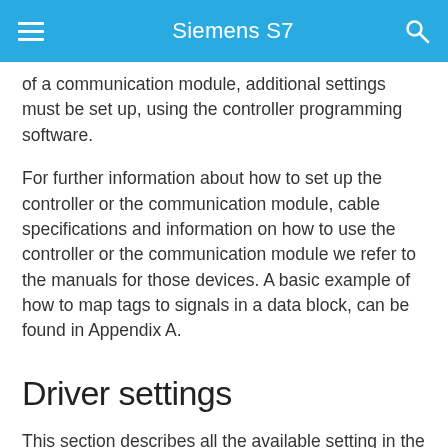Siemens S7
of a communication module, additional settings must be set up, using the controller programming software.
For further information about how to set up the controller or the communication module, cable specifications and information on how to use the controller or the communication module we refer to the manuals for those devices. A basic example of how to map tags to signals in a data block, can be found in Appendix A.
Driver settings
This section describes all the available setting in the driver, and what they do
IP Address – This is the IP-address that the